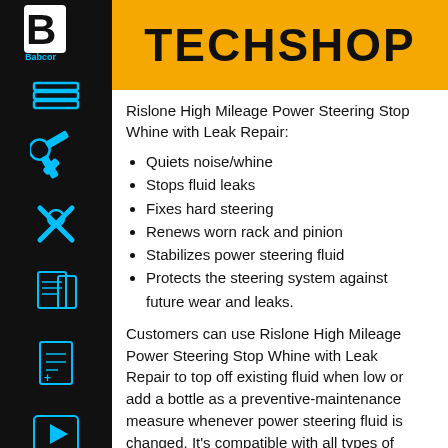TECHSHOP
Rislone High Mileage Power Steering Stop Whine with Leak Repair:
Quiets noise/whine
Stops fluid leaks
Fixes hard steering
Renews worn rack and pinion
Stabilizes power steering fluid
Protects the steering system against future wear and leaks.
Customers can use Rislone High Mileage Power Steering Stop Whine with Leak Repair to top off existing fluid when low or add a bottle as a preventive-maintenance measure whenever power steering fluid is changed. It’s compatible with all types of domestic and imported power